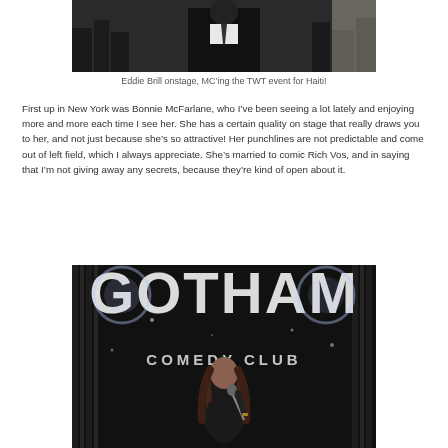[Figure (photo): Eddie Brill onstage in a black suit, with city skyline backdrop, MC'ing TWT event for Haiti]
Eddie Brill onstage, MC'ing the TWT event for Haiti!
First up in New York was Bonnie McFarlane, who I've been seeing a lot lately and enjoying more and more each time I see her. She has a certain quality on stage that really draws you to her, and not just because she's so attractive! Her punchlines are not predictable and come out of left field, which I always appreciate. She's married to comic Rich Vos, and in saying that I'm not giving away any secrets, because they're kind of open about it.
[Figure (photo): Woman performing standup comedy on stage at Gotham Comedy Club, New York, with large illuminated GOTHAM COMEDY CLUB sign in background]